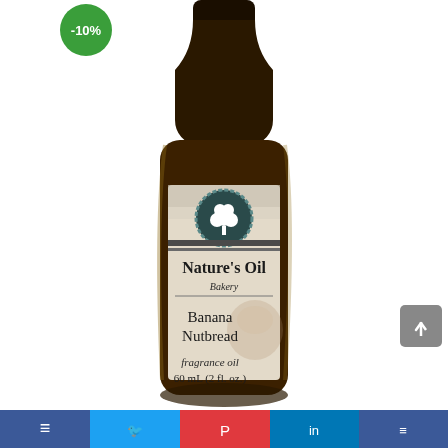[Figure (photo): A dark amber glass bottle of Nature's Oil Bakery Banana Nutbread fragrance oil, 60 mL (2 fl. oz.), with a decorative label featuring a tree logo badge, on a white background. A green discount badge showing -10% is in the top left corner. A grey scroll-to-top button appears on the right side. A social media sharing bar with blue, light blue, red, dark blue, and blue segments appears at the bottom.]